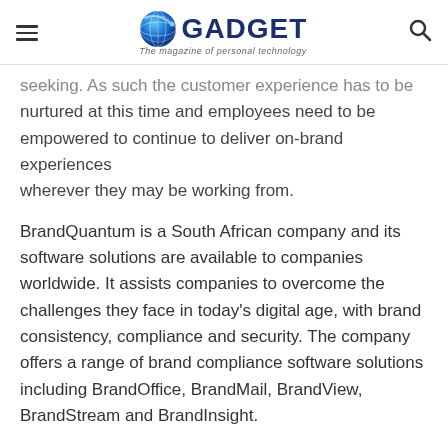GADGET – The magazine of personal technology
seeking. As such the customer experience has to be nurtured at this time and employees need to be empowered to continue to deliver on-brand experiences wherever they may be working from.
BrandQuantum is a South African company and its software solutions are available to companies worldwide. It assists companies to overcome the challenges they face in today's digital age, with brand consistency, compliance and security. The company offers a range of brand compliance software solutions including BrandOffice, BrandMail, BrandView, BrandStream and BrandInsight.
For more information about BrandQuantum visit www.brandquantum.com